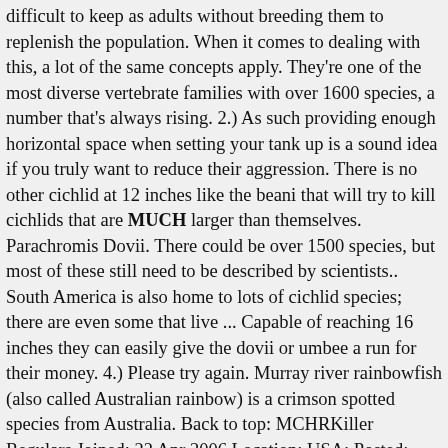difficult to keep as adults without breeding them to replenish the population. When it comes to dealing with this, a lot of the same concepts apply. They're one of the most diverse vertebrate families with over 1600 species, a number that's always rising. 2.) As such providing enough horizontal space when setting your tank up is a sound idea if you truly want to reduce their aggression. There is no other cichlid at 12 inches like the beani that will try to kill cichlids that are MUCH larger than themselves. Parachromis Dovii. There could be over 1500 species, but most of these still need to be described by scientists.. South America is also home to lots of cichlid species; there are even some that live ... Capable of reaching 16 inches they can easily give the dovii or umbee a run for their money. 4.) Please try again. Murray river rainbowfish (also called Australian rainbow) is a crimson spotted species from Australia. Back to top: MCHRKiller Regulars Joined: 22 Apr 2006 Location: USA: Posted: